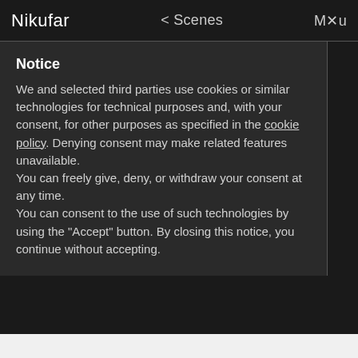Nikufar  < Scenes  Menu
Notice
We and selected third parties use cookies or similar technologies for technical purposes and, with your consent, for other purposes as specified in the cookie policy. Denying consent may make related features unavailable.
You can freely give, deny, or withdraw your consent at any time.
You can consent to the use of such technologies by using the "Accept" button. By closing this notice, you continue without accepting.